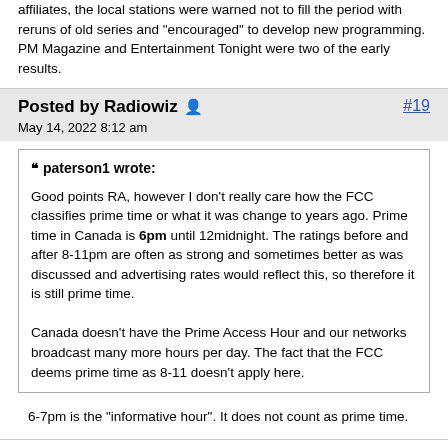affiliates, the local stations were warned not to fill the period with reruns of old series and "encouraged" to develop new programming. PM Magazine and Entertainment Tonight were two of the early results.
Posted by Radiowiz  #19
May 14, 2022 8:12 am
paterson1 wrote:

Good points RA, however I don't really care how the FCC classifies prime time or what it was change to years ago.  Prime time in Canada is 6pm until 12midnight.  The ratings before and after 8-11pm are often as strong and sometimes better as was discussed and advertising rates would reflect this, so therefore it is still prime time.

Canada doesn't have the Prime Access Hour and our networks broadcast many more hours per day.  The fact that the FCC deems prime time as 8-11 doesn't apply here.
6-7pm is the "informative hour". It does not count as prime time.
RadioWiz & RadioQuiz are NOT the same person.
RadioWiz & THE Wiz are NOT the same person.